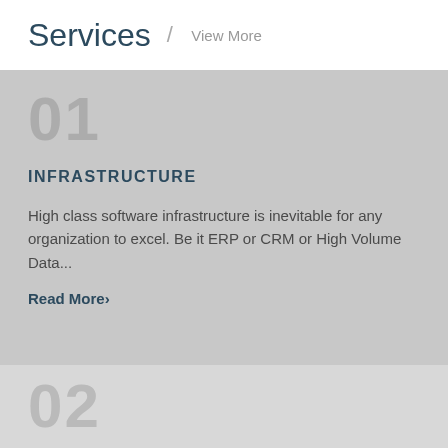Services / View More
01
INFRASTRUCTURE
High class software infrastructure is inevitable for any organization to excel. Be it ERP or CRM or High Volume Data...
Read More›
02
DEEP LEARNING